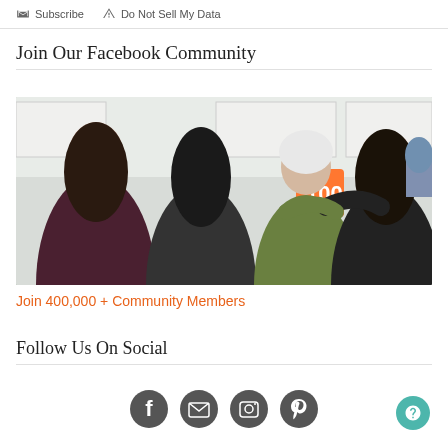Subscribe  Do Not Sell My Data
Join Our Facebook Community
[Figure (photo): Group of women hugging and laughing in a kitchen setting, with an orange '100' sign visible in the background]
Join 400,000 + Community Members
Follow Us On Social
[Figure (infographic): Row of social media icons: Facebook, email/newsletter, camera/Instagram, and another social icon, all in dark gray circles]